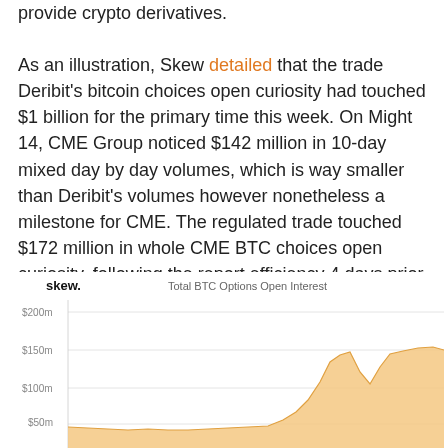provide crypto derivatives. As an illustration, Skew detailed that the trade Deribit's bitcoin choices open curiosity had touched $1 billion for the primary time this week. On Might 14, CME Group noticed $142 million in 10-day mixed day by day volumes, which is way smaller than Deribit's volumes however nonetheless a milestone for CME. The regulated trade touched $172 million in whole CME BTC choices open curiosity, following the report efficiency 4 days prior.
[Figure (area-chart): Area chart showing Total BTC Options Open Interest from skew, y-axis from $50m to $200m, showing a sharp rise near the right side reaching approximately $150m-$170m range, with an orange/tan shaded area.]